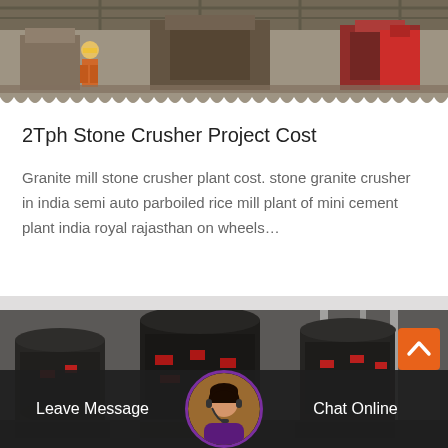[Figure (photo): Industrial stone crusher machinery facility with a worker in yellow hard hat and orange vest; heavy equipment and conveyor systems visible in background]
2Tph Stone Crusher Project Cost
Granite mill stone crusher plant cost. stone granite crusher in india semi auto parboiled rice mill plant of mini cement plant india royal rajasthan on wheels…
[Figure (photo): Industrial cone crushers with red accent machinery parts in a large facility, multiple crusher units visible]
Leave Message   Chat Online